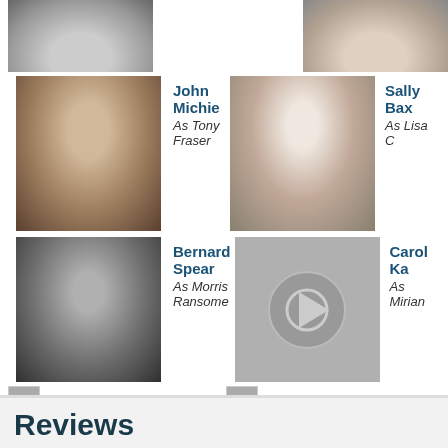[Figure (photo): Partial photo at top left, cropped]
[Figure (photo): Partial photo at top right, cropped]
John Michie
As Tony Fraser
[Figure (photo): Black and white headshot of John Michie]
Sally Bax...
As Lisa C...
[Figure (photo): Black and white headshot of Sally Baxter]
Bernard Spear
As Morris Ransome
[Figure (photo): Black and white headshot of Bernard Spear]
Carol Ka...
As Mirian...
[Figure (photo): Icon placeholder for Carol Ka]
Helen Shapiro
As Viv Harker
[Figure (photo): Small thumbnail of Helen Shapiro]
Paul Bhattacharjee...
As Jaz Sharma
[Figure (photo): Small thumbnail of Paul Bhattacharjee]
Seeta Indrani
As Sita Sharma
[Figure (photo): Small thumbnail of Seeta Indrani]
Dev Sage...
As Raju S...
[Figure (photo): Icon placeholder for Dev Sage]
• view full cast list, character guides
Reviews